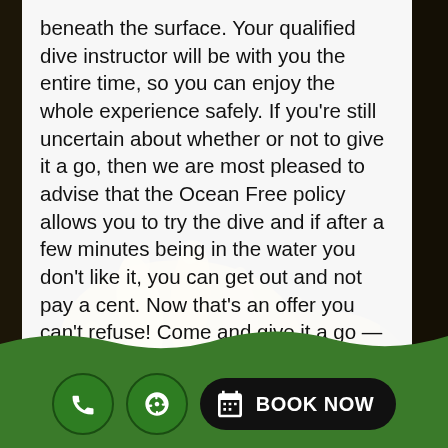beneath the surface. Your qualified dive instructor will be with you the entire time, so you can enjoy the whole experience safely. If you're still uncertain about whether or not to give it a go, then we are most pleased to advise that the Ocean Free policy allows you to try the dive and if after a few minutes being in the water you don't like it, you can get out and not pay a cent. Now that's an offer you can't refuse! Come and give it a go — you won't be disappointed!
[Figure (photo): Underwater macro photo of sea anemone tentacles in golden/amber tones against a dark background, serving as full-page background]